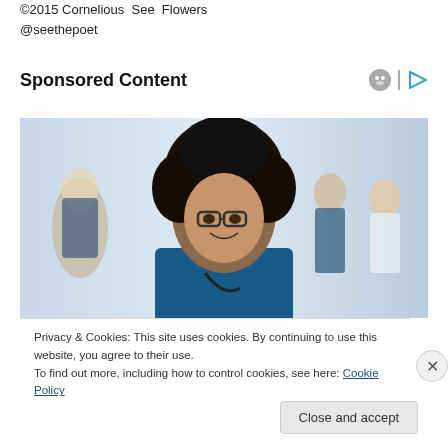©2015 Cornelious  See  Flowers
@seethepoet
Sponsored Content
[Figure (photo): Group of healthcare workers in blue scrubs smiling, with a woman wearing glasses and a stethoscope in the foreground]
Privacy & Cookies: This site uses cookies. By continuing to use this website, you agree to their use.
To find out more, including how to control cookies, see here: Cookie Policy
Close and accept